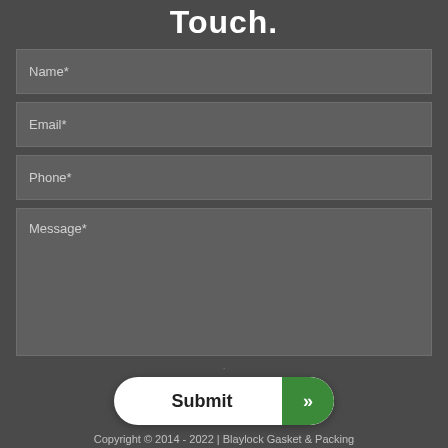Touch.
Name*
Email*
Phone*
Message*
Submit
Copyright © 2014 - 2022 | Blaylock Gasket & Packing
Privacy Policy | Sitemap